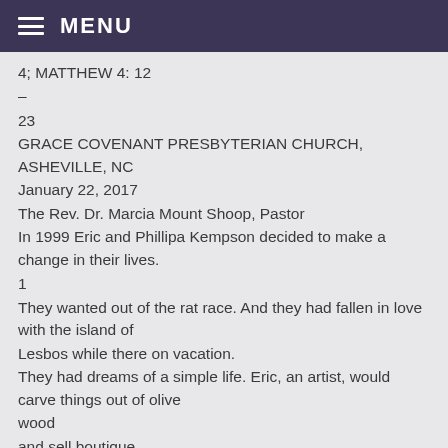MENU
4; MATTHEW 4: 12
–
23
GRACE COVENANT PRESBYTERIAN CHURCH, ASHEVILLE, NC
January 22, 2017
The Rev. Dr. Marcia Mount Shoop, Pastor
In 1999 Eric and Phillipa Kempson decided to make a change in their lives.
1
They wanted out of the rat race. And they had fallen in love with the island of Lesbos while there on vacation.
They had dreams of a simple life. Eric, an artist, would carve things out of olive
wood
and sell boutique
jewelry
and carvings
to
vacationer